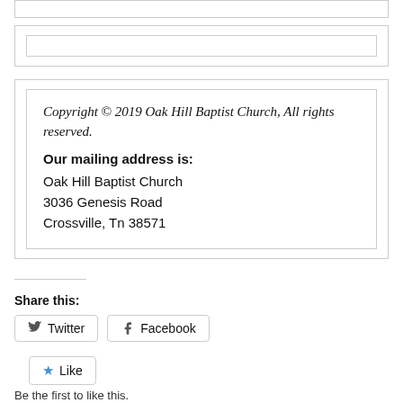Copyright © 2019 Oak Hill Baptist Church, All rights reserved.
Our mailing address is:
Oak Hill Baptist Church
3036 Genesis Road
Crossville, Tn 38571
Share this:
Twitter  Facebook
Like
Be the first to like this.